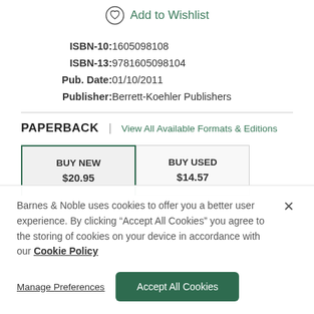Add to Wishlist
| ISBN-10: | 1605098108 |
| ISBN-13: | 9781605098104 |
| Pub. Date: | 01/10/2011 |
| Publisher: | Berrett-Koehler Publishers |
PAPERBACK | View All Available Formats & Editions
BUY NEW $20.95 | BUY USED $14.57
Barnes & Noble uses cookies to offer you a better user experience. By clicking "Accept All Cookies" you agree to the storing of cookies on your device in accordance with our Cookie Policy
Manage Preferences
Accept All Cookies